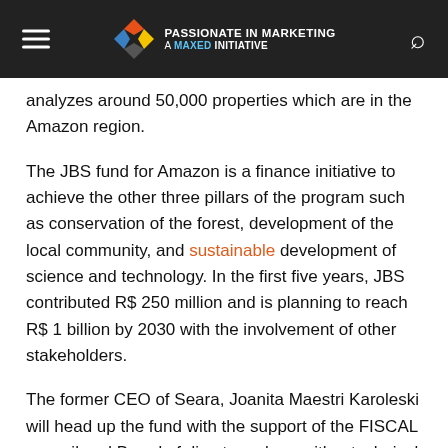Passionate in Marketing — A MaxEd Initiative
analyzes around 50,000 properties which are in the Amazon region.
The JBS fund for Amazon is a finance initiative to achieve the other three pillars of the program such as conservation of the forest, development of the local community, and sustainable development of science and technology. In the first five years, JBS contributed R$ 250 million and is planning to reach R$ 1 billion by 2030 with the involvement of other stakeholders.
The former CEO of Seara, Joanita Maestri Karoleski will head up the fund with the support of the FISCAL council and Board of directors along with a technical committee and a consultative council who will also assist to select contribution